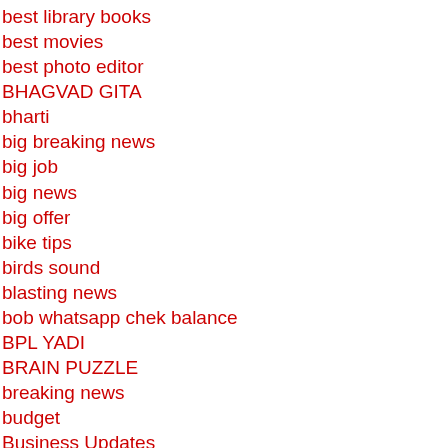best library books
best movies
best photo editor
BHAGVAD GITA
bharti
big breaking news
big job
big news
big offer
bike tips
birds sound
blasting news
bob whatsapp chek balance
BPL YADI
BRAIN PUZZLE
breaking news
budget
Business Updates
calculate in your mind